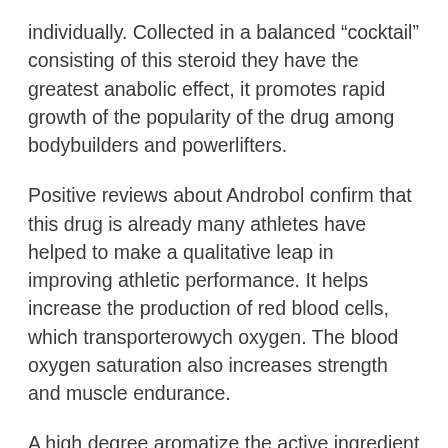individually. Collected in a balanced “cocktail” consisting of this steroid they have the greatest anabolic effect, it promotes rapid growth of the popularity of the drug among bodybuilders and powerlifters.
Positive reviews about Androbol confirm that this drug is already many athletes have helped to make a qualitative leap in improving athletic performance. It helps increase the production of red blood cells, which transporterowych oxygen. The blood oxygen saturation also increases strength and muscle endurance.
A high degree aromatize the active ingredient in the steroid leads to increase in the concentration of estrogen. Therefore, one of the main side effects gynecomastia. In addition, Androbol 300 inhibits the production of own testosterone, so the increase of